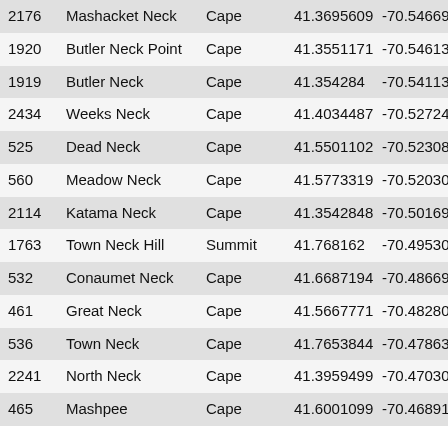| 2176 | Mashacket Neck | Cape | 41.3695609 | -70.5466932 |
| 1920 | Butler Neck Point | Cape | 41.3551171 | -70.5461374 |
| 1919 | Butler Neck | Cape | 41.354284 | -70.5411374 |
| 2434 | Weeks Neck | Cape | 41.4034487 | -70.5272491 |
| 525 | Dead Neck | Cape | 41.5501102 | -70.5230838 |
| 560 | Meadow Neck | Cape | 41.5773319 | -70.520306 |
| 2114 | Katama Neck | Cape | 41.3542848 | -70.5016925 |
| 1763 | Town Neck Hill | Summit | 41.768162 | -70.4953054 |
| 532 | Conaumet Neck | Cape | 41.6687194 | -70.486694 |
| 461 | Great Neck | Cape | 41.5667771 | -70.4828051 |
| 536 | Town Neck | Cape | 41.7653844 | -70.4786383 |
| 2241 | North Neck | Cape | 41.3959499 | -70.4703033 |
| 465 | Mashpee | Cape | 41.6001099 | -70.4689157 |